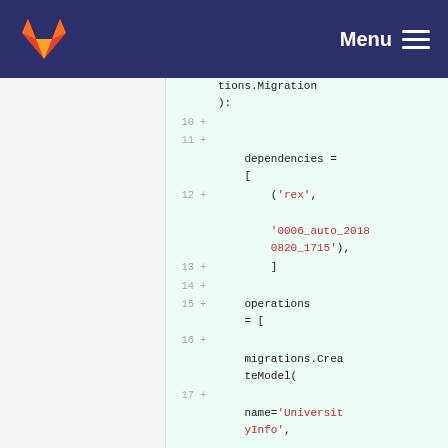Menu
[Figure (screenshot): GitLab code diff view showing a Django migration file. Lines 10-17 are shown with '+' markers indicating added lines. The code shows: dependencies = [('rex', '0006_auto_20180820_1715'),], operations = [migrations.CreateModel(name='UniversityInfo',]
tions.Migration):

10 +
11 +
    dependencies = [
12 +        ('rex',

    '0006_auto_20180820_1715'),

13 +        ]
14 +
15 +    operations = [

16 +
    migrations.CreateModel(

17 +
    name='UniversityInfo',